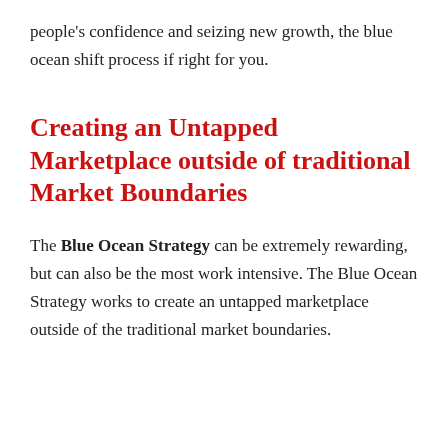people's confidence and seizing new growth, the blue ocean shift process if right for you.
Creating an Untapped Marketplace outside of traditional Market Boundaries
The Blue Ocean Strategy can be extremely rewarding, but can also be the most work intensive. The Blue Ocean Strategy works to create an untapped marketplace outside of the traditional market boundaries.